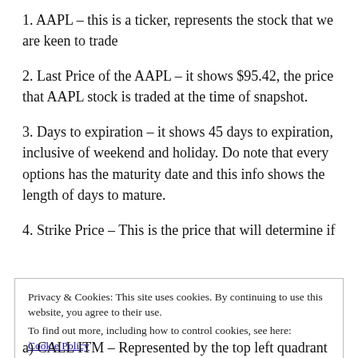1. AAPL – this is a ticker, represents the stock that we are keen to trade
2. Last Price of the AAPL – it shows $95.42, the price that AAPL stock is traded at the time of snapshot.
3. Days to expiration – it shows 45 days to expiration, inclusive of weekend and holiday. Do note that every options has the maturity date and this info shows the length of days to mature.
4. Strike Price – This is the price that will determine if
Privacy & Cookies: This site uses cookies. By continuing to use this website, you agree to their use.
To find out more, including how to control cookies, see here:
Cookie Policy
[Close and accept]
a) CALL ITM – Represented by the top left quadrant